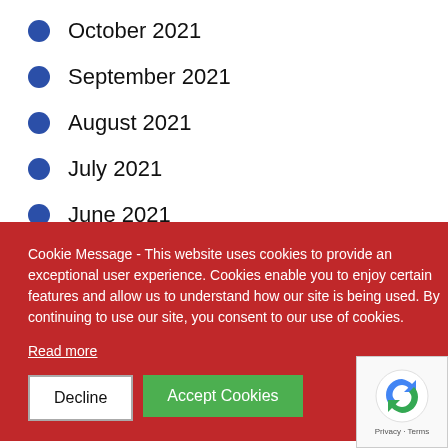October 2021
September 2021
August 2021
July 2021
June 2021
May 2021
Cookie Message - This website uses cookies to provide an exceptional user experience. Cookies enable you to enjoy certain features and allow us to understand how our site is being used. By continuing to use our site, you consent to our use of cookies.
Read more
Decline
Accept Cookies